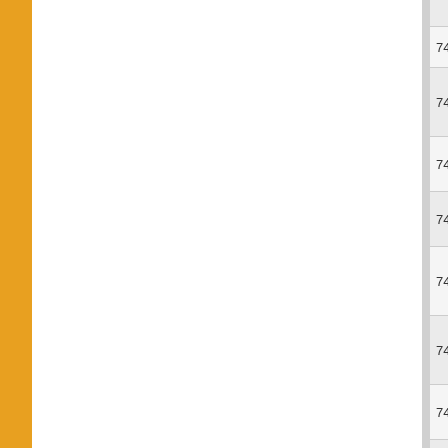| No. | Date | Description |
| --- | --- | --- |
| 740. | 25/05/2016 | RE-EXAMIN... |
| 741. | 24/05/2016 | CHANGE: B... (May-2016) |
| 742. | 24/05/2016 | ADDITIONS: Exam. (May-... |
| 743. | 24/05/2016 | CHANGE: C... 2016) |
| 744. | 24/05/2016 | CHANGES i... and Regular'... |
| 745. | 20/05/2016 | ADDITION: F... (May-2016) |
| 746. | 19/05/2016 | RE-EXAMIN... examination... |
| 747. | 18/05/2016 | CHANGES: Examination... |
| 748. | 17/05/2016 | ADDITIONS: Examination... |
| 749. | 16/05/2016 | ADDITIONS: (May-2016) |
| 750. | 16/05/2016 | ADDITION: F... SEMESTER... |